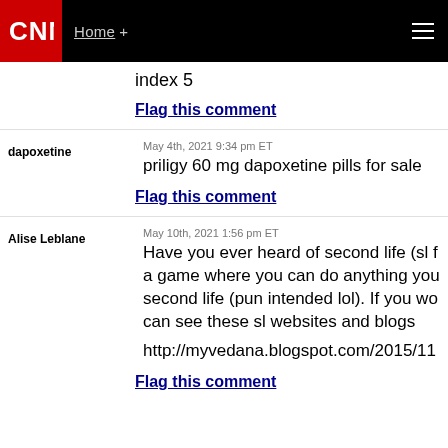CNN | Home +
index 5
Flag this comment
dapoxetine — May 4th, 2021 9:34 pm ET — priligy 60 mg dapoxetine pills for sale
Flag this comment
Alise Leblane — May 10th, 2021 1:56 pm ET — Have you ever heard of second life (sl f a game where you can do anything you second life (pun intended lol). If you wou can see these sl websites and blogs http://myvedana.blogspot.com/2015/11
Flag this comment